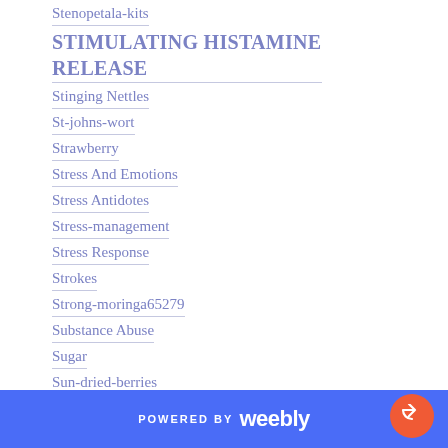Stenopetala-kits
STIMULATING HISTAMINE RELEASE
Stinging Nettles
St-johns-wort
Strawberry
Stress And Emotions
Stress Antidotes
Stress-management
Stress Response
Strokes
Strong-moringa65279
Substance Abuse
Sugar
Sun-dried-berries
Sun-drying
Sunscreen
POWERED BY weebly